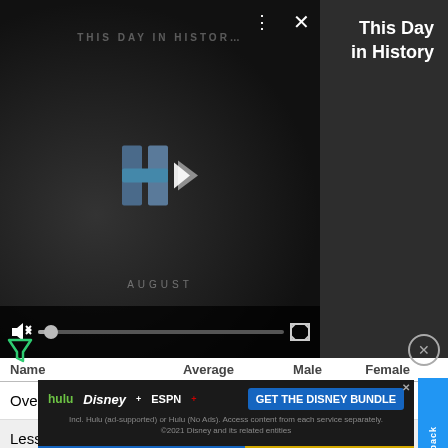[Figure (screenshot): Video player showing 'This Day in History' content with play button overlay, mute/progress/fullscreen controls, and dark sidebar with title text 'This Day in History']
| Name | Average | Male | Female |
| --- | --- | --- | --- |
| Overall | $24,635 | $27,447 | $19,252 |
| Less Than 9th Grade | $15,270 | $ | $7,330 |
| High School Graduate | $23,263 | $23,261 | $23,265 |
| Some College | $27,679 | $38,516 | $21,250 |
[Figure (screenshot): Advertisement banner for Disney Bundle showing Hulu, Disney+, ESPN+ logos and 'GET THE DISNEY BUNDLE' call to action button]